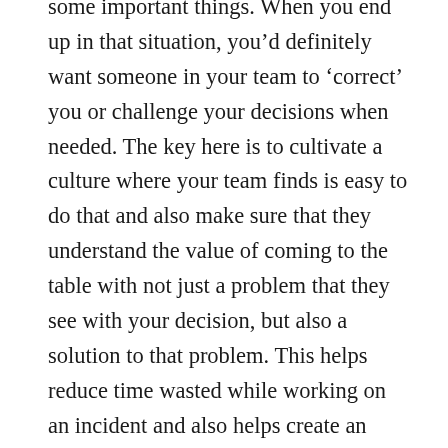some important things. When you end up in that situation, you'd definitely want someone in your team to 'correct' you or challenge your decisions when needed. The key here is to cultivate a culture where your team finds is easy to do that and also make sure that they understand the value of coming to the table with not just a problem that they see with your decision, but also a solution to that problem. This helps reduce time wasted while working on an incident and also helps create an open and progressive culture in the team.